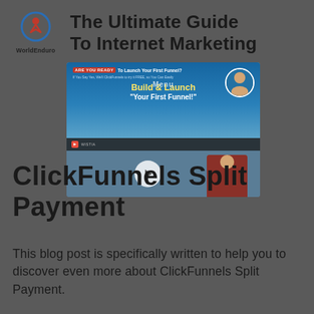[Figure (logo): WorldEnduro logo with circular icon containing a star and figure, and text 'WorldEnduro' below]
The Ultimate Guide To Internet Marketing
[Figure (screenshot): Screenshot of a ClickFunnels video page with 'ARE YOU READY To Launch Your First Funnel?' banner, 'Build & Launch Your First Funnel!' text, a person's headshot, a Wistia video player bar, and a play button overlay on a blue background with a person in a red shirt]
ClickFunnels Split Payment
This blog post is specifically written to help you to discover even more about ClickFunnels Split Payment.